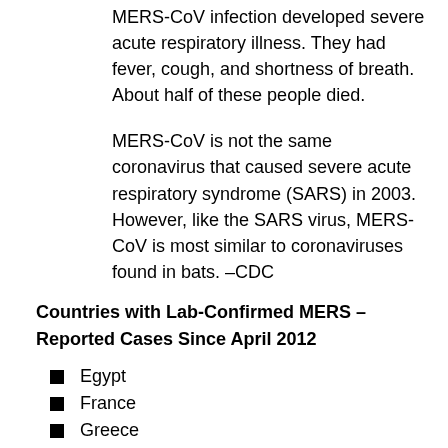MERS-CoV infection developed severe acute respiratory illness. They had fever, cough, and shortness of breath. About half of these people died.
MERS-CoV is not the same coronavirus that caused severe acute respiratory syndrome (SARS) in 2003. However, like the SARS virus, MERS-CoV is most similar to coronaviruses found in bats. –CDC
Countries with Lab-Confirmed MERS – Reported Cases Since April 2012
Egypt
France
Greece
Italy